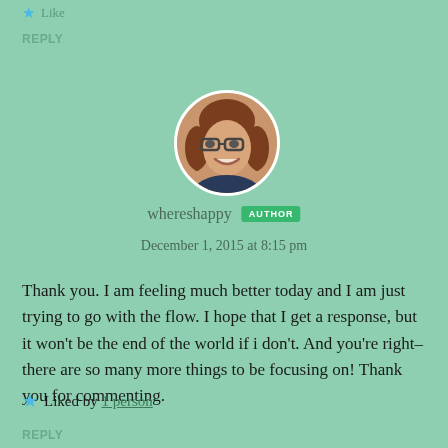Like
REPLY
[Figure (photo): Circular avatar photo of a woman with brown hair and glasses, smiling]
whereshappy AUTHOR
December 1, 2015 at 8:15 pm
Thank you. I am feeling much better today and I am just trying to go with the flow. I hope that I get a response, but it won't be the end of the world if i don't. And you're right–there are so many more things to be focusing on! Thank you for commenting.
Liked by 1 person
REPLY